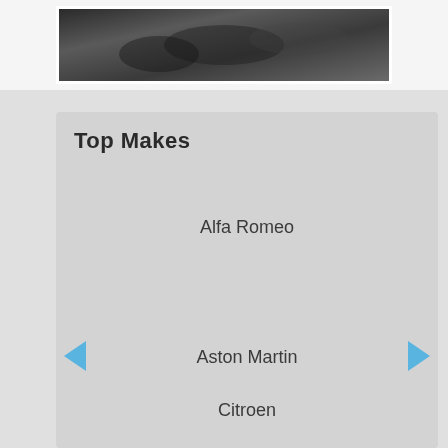[Figure (photo): Black and white photo of car interior/dashboard, framed with white border]
Top Makes
Alfa Romeo
Aston Martin
Audi
BMW
Bugatti
Chevrolet
Citroen
Dacia